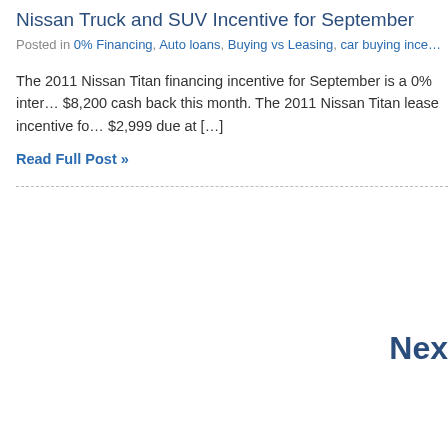Nissan Truck and SUV Incentive for September
Posted in 0% Financing, Auto loans, Buying vs Leasing, car buying ince…
The 2011 Nissan Titan financing incentive for September is a 0% inter… $8,200 cash back this month. The 2011 Nissan Titan lease incentive fo… $2,999 due at […]
Read Full Post »
Nex